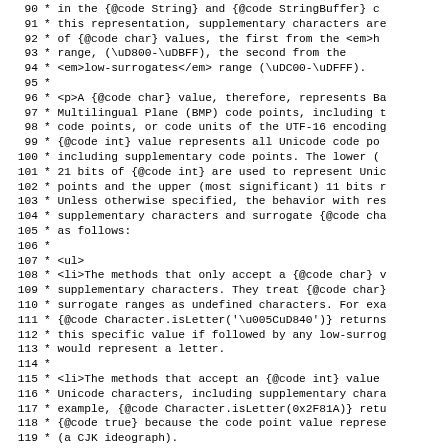Lines 90-119 of Java source code comment block describing Unicode character handling, including supplementary characters, surrogate ranges, and Character class methods.